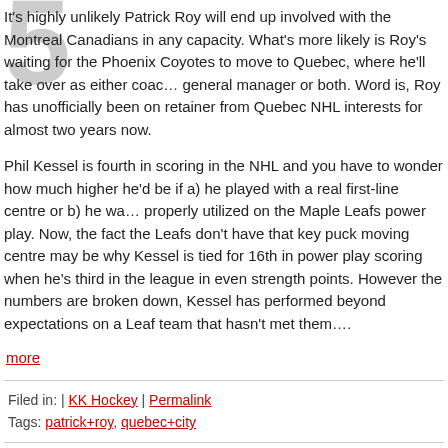It's highly unlikely Patrick Roy will end up involved with the Montreal Canadians in any capacity. What's more likely is Roy's waiting for the Phoenix Coyotes to move to Quebec, where he'll take over as either coach, general manager or both. Word is, Roy has unofficially been on retainer from Quebec NHL interests for almost two years now.
Phil Kessel is fourth in scoring in the NHL and you have to wonder how much higher he'd be if a) he played with a real first-line centre or b) he was properly utilized on the Maple Leafs power play. Now, the fact the Leafs don't have that key puck moving centre may be why Kessel is tied for 16th in power play scoring when he's third in the league in even strength points. However the numbers are broken down, Kessel has performed beyond expectations on a Leaf team that hasn't met them….
more
Filed in: | KK Hockey | Permalink
Tags: patrick+roy, quebec+city
Roy The Next Montreal GM?
by Paul on 03/20/12 at 03:13 PM ET
Comments (0)
from Sean Gordon of the Globe and Mail,